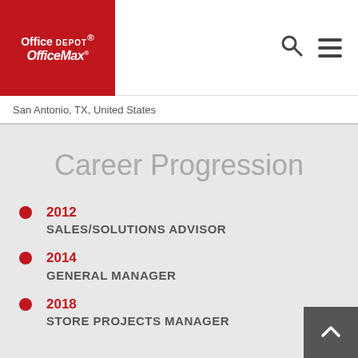[Figure (logo): Office Depot OfficeMax logo on red background]
San Antonio, TX, United States
Career Progression
2012 SALES/SOLUTIONS ADVISOR
2014 GENERAL MANAGER
2018 STORE PROJECTS MANAGER